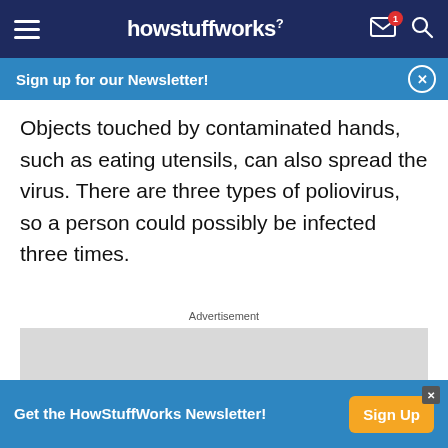howstuffworks
Sign up for our Newsletter!
Objects touched by contaminated hands, such as eating utensils, can also spread the virus. There are three types of poliovirus, so a person could possibly be infected three times.
Advertisement
[Figure (other): Grey advertisement placeholder box]
Get the HowStuffWorks Newsletter!